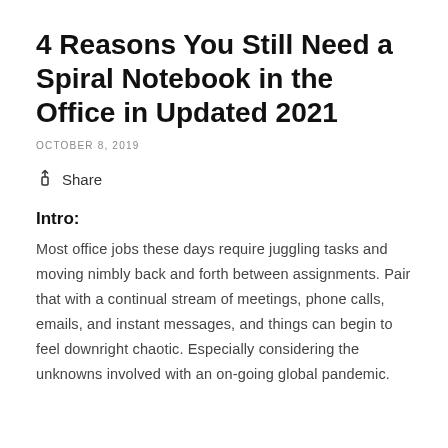4 Reasons You Still Need a Spiral Notebook in the Office in Updated 2021
OCTOBER 8, 2019
Share
Intro:
Most office jobs these days require juggling tasks and moving nimbly back and forth between assignments. Pair that with a continual stream of meetings, phone calls, emails, and instant messages, and things can begin to feel downright chaotic. Especially considering the unknowns involved with an on-going global pandemic.